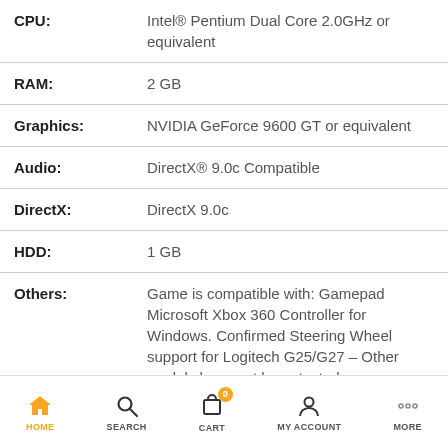| Spec | Value |
| --- | --- |
| CPU: | Intel® Pentium Dual Core 2.0GHz or equivalent |
| RAM: | 2 GB |
| Graphics: | NVIDIA GeForce 9600 GT or equivalent |
| Audio: | DirectX® 9.0c Compatible |
| DirectX: | DirectX 9.0c |
| HDD: | 1 GB |
| Others: | Game is compatible with: Gamepad Microsoft Xbox 360 Controller for Windows. Confirmed Steering Wheel support for Logitech G25/G27 – Other models have not been tested; This game is 32-bit application |
HOME  SEARCH  CART  MY ACCOUNT  MORE